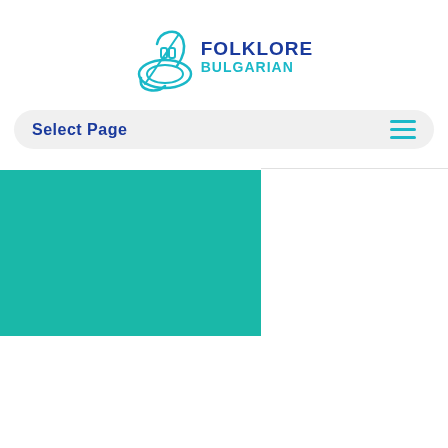[Figure (logo): Bulgarian Folklore logo — a stylized French horn icon in teal outline on the left, with 'FOLKLORE' in dark navy bold and 'BULGARIAN' in teal below it on the right]
Select Page
[Figure (illustration): A teal/turquoise rectangle occupying the left portion of the page below the navigation bar]